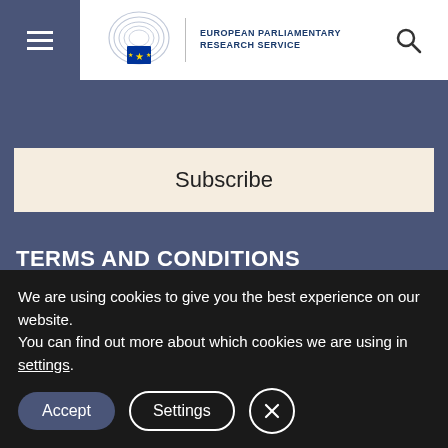European Parliamentary Research Service
Email Address
Subscribe
TERMS AND CONDITIONS
The content of all documents (and articles) contained in this blog is the sole responsibility of the author and any opinions expressed therein do not necessarily represent the official position of the European Parliament. It is addressed to the Members and staff of the EP for their
We are using cookies to give you the best experience on our website.
You can find out more about which cookies we are using in settings.
Accept
Settings